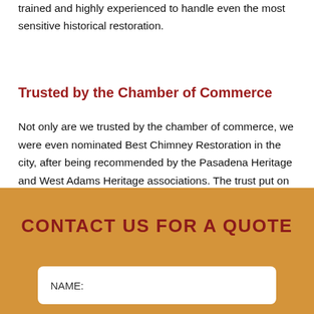trained and highly experienced to handle even the most sensitive historical restoration.
Trusted by the Chamber of Commerce
Not only are we trusted by the chamber of commerce, we were even nominated Best Chimney Restoration in the city, after being recommended by the Pasadena Heritage and West Adams Heritage associations. The trust put on our company is a true testament to our commitment to high standards.
CONTACT US FOR A QUOTE
NAME: